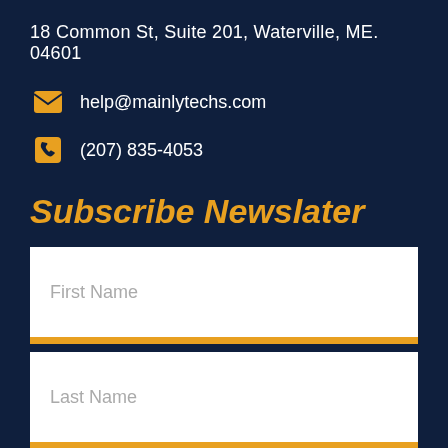18 Common St, Suite 201, Waterville, ME. 04601
help@mainlytechs.com
(207) 835-4053
Subscribe Newslater
First Name
Last Name
Email